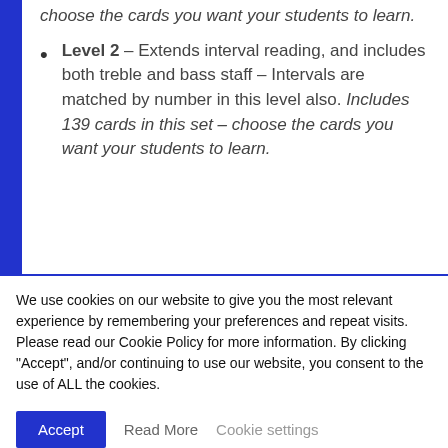choose the cards you want your students to learn.
Level 2 – Extends interval reading, and includes both treble and bass staff – Intervals are matched by number in this level also. Includes 139 cards in this set – choose the cards you want your students to learn.
We use cookies on our website to give you the most relevant experience by remembering your preferences and repeat visits. Please read our Cookie Policy for more information. By clicking "Accept", and/or continuing to use our website, you consent to the use of ALL the cookies.